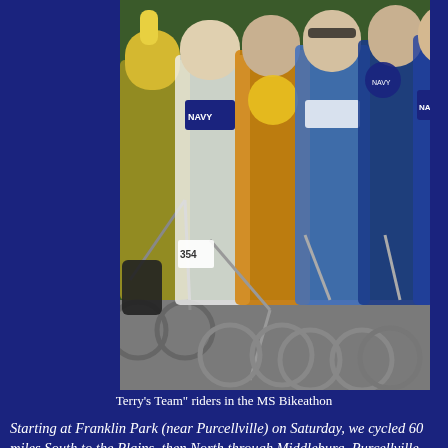[Figure (photo): Group of cyclists in cycling jerseys (Navy team, Panuzzi Crew) posing with their road bikes outdoors on pavement with green grass in the background. Five or more riders visible wearing colorful cycling kit.]
Terry's Team" riders in the MS Bikeathon
Starting at Franklin Park (near Purcellville) on Saturday, we cycled 60 miles South to the Plains, then North through Middleburg, Purcellville, and East to the 4-H Fairgrounds near Leesburg. Sunday was a shorter route of about 40 miles that looped South then North to end back at Franklin Park. Pete and I only did the Saturday ride, while the others completed the entire 100 miles. Pete had a family gathering